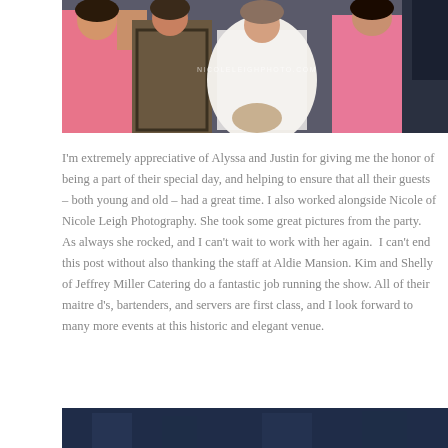[Figure (photo): Group photo at a wedding reception showing people in colorful dresses, with a bride in white being lifted or posed with guests, with a watermark reading NICOLELEIGHPHOTO.COM]
I'm extremely appreciative of Alyssa and Justin for giving me the honor of being a part of their special day, and helping to ensure that all their guests – both young and old – had a great time. I also worked alongside Nicole of Nicole Leigh Photography. She took some great pictures from the party. As always she rocked, and I can't wait to work with her again.  I can't end this post without also thanking the staff at Aldie Mansion. Kim and Shelly of Jeffrey Miller Catering do a fantastic job running the show. All of their maitre d's, bartenders, and servers are first class, and I look forward to many more events at this historic and elegant venue.
[Figure (photo): Bottom portion of another photo showing a dark blue/navy toned event scene]